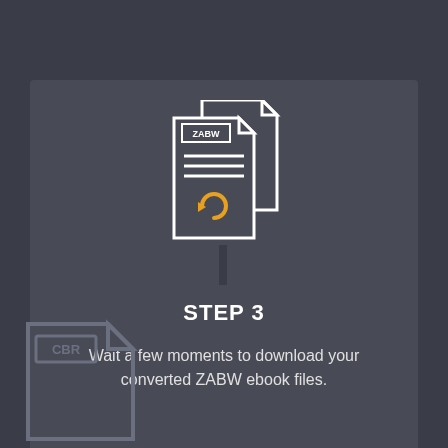[Figure (illustration): ZABW file icon with a refresh/convert arrow symbol in orange, overlapping two document icons with white outline on dark background]
STEP 3
Wait a few moments to download your converted ZABW ebook files.
[Figure (illustration): CBR file icon in gray/dark outline at bottom left corner, partially visible]